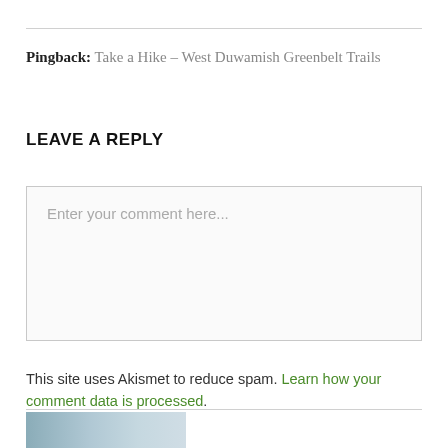Pingback: Take a Hike – West Duwamish Greenbelt Trails
LEAVE A REPLY
Enter your comment here...
This site uses Akismet to reduce spam. Learn how your comment data is processed.
[Figure (photo): Partial image visible at bottom of page]